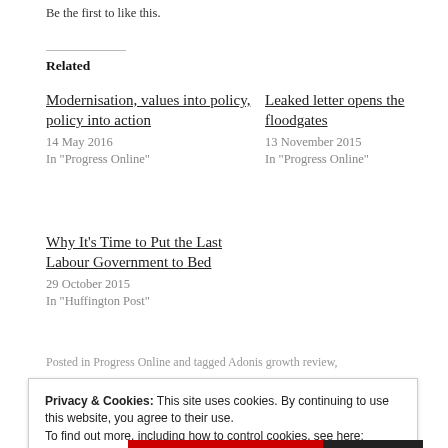Be the first to like this.
Related
Modernisation, values into policy, policy into action
14 May 2016
In "Progress Online"
Leaked letter opens the floodgates
13 November 2015
In "Progress Online"
Why It's Time to Put the Last Labour Government to Bed
29 October 2015
In "Huffington Post"
Posted in Progress Online and tagged Adonis growth review,
Privacy & Cookies: This site uses cookies. By continuing to use this website, you agree to their use.
To find out more, including how to control cookies, see here: Cookie Policy
Close and accept